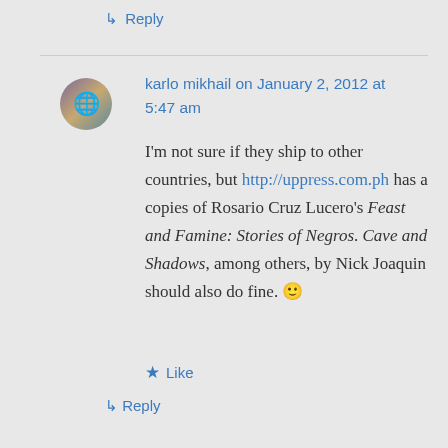↳ Reply
karlo mikhail on January 2, 2012 at 5:47 am
I'm not sure if they ship to other countries, but http://uppress.com.ph has a copies of Rosario Cruz Lucero's Feast and Famine: Stories of Negros. Cave and Shadows, among others, by Nick Joaquin should also do fine. 🙂
★ Like
↳ Reply